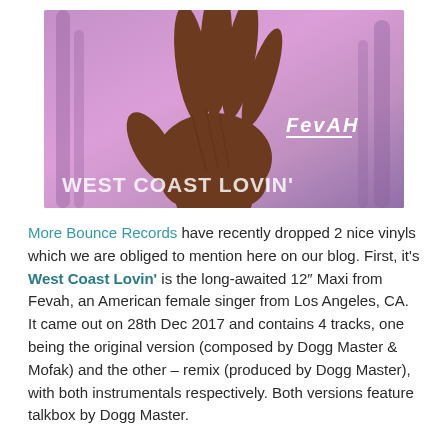[Figure (illustration): Album art for 'West Coast Lovin'' by Fevah. Purple/pink gradient background with palm tree silhouettes and a large brown hand raised in the center. 'Fevah' written in white italic text with an underline, and 'WEST COAST LOVIN'' in large white letters at the bottom.]
More Bounce Records have recently dropped 2 nice vinyls which we are obliged to mention here on our blog. First, it's West Coast Lovin' is the long-awaited 12″ Maxi from Fevah, an American female singer from Los Angeles, CA. It came out on 28th Dec 2017 and contains 4 tracks, one being the original version (composed by Dogg Master & Mofak) and the other – remix (produced by Dogg Master), with both instrumentals respectively. Both versions feature talkbox by Dogg Master.